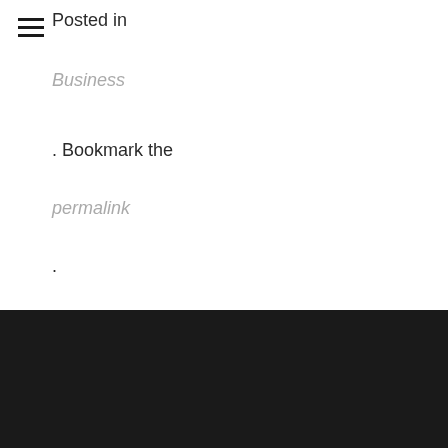Posted in
Business
. Bookmark the
permalink
.
Contact Details